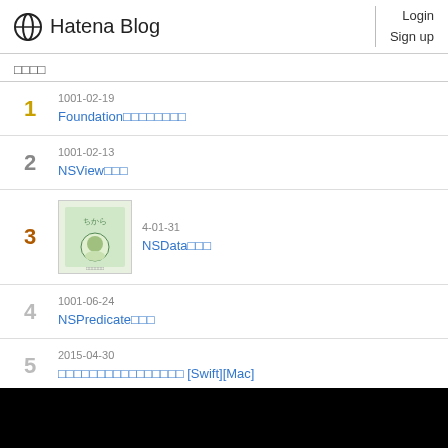Hatena Blog  Login  Sign up
□□□□
1  1001-02-19  Foundation□□□□□□□□
2  1001-02-13  NSView□□□
3  4-01-31  NSData□□□
4  1001-06-24  NSPredicate□□□
5  2015-04-30  □□□□□□□□□□□□□□□□ [Swift][Mac]